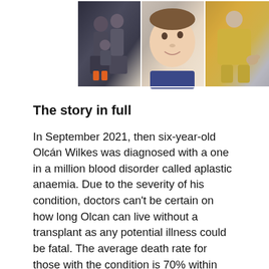[Figure (photo): Three photos of a young boy: left photo shows a family group posing together in winter clothes with orange boots; middle photo is a close-up portrait of the boy smiling; right photo shows the boy in a yellow outfit holding a small dog.]
The story in full
In September 2021, then six-year-old Olcán Wilkes was diagnosed with a one in a million blood disorder called aplastic anaemia. Due to the severity of his condition, doctors can't be certain on how long Olcan can live without a transplant as any potential illness could be fatal. The average death rate for those with the condition is 70% within one year.